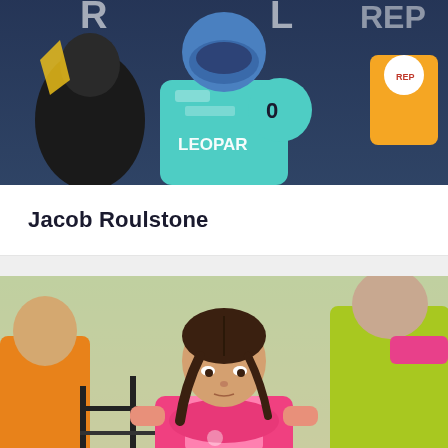[Figure (photo): A motorcycle racing rider in a teal/mint Leopard Racing suit and blue helmet, holding a trophy/helmet at what appears to be a podium ceremony. Repsol branding visible in background.]
Jacob Roulstone
[Figure (photo): A young girl with dark hair in braids wearing a pink and white polo shirt, leaning over what appears to be a railing or fence. Other people in orange and yellow shirts visible in background.]